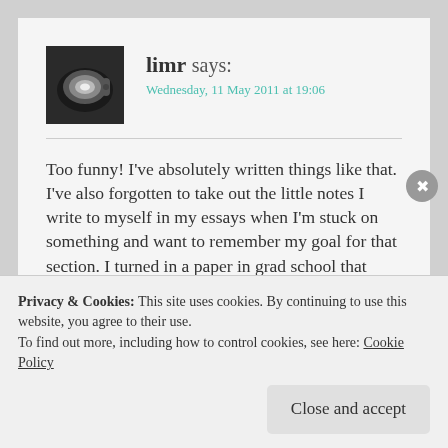[Figure (photo): Black and white avatar photo of a coffee cup]
limr says:
Wednesday, 11 May 2011 at 19:06
Too funny! I've absolutely written things like that. I've also forgotten to take out the little notes I write to myself in my essays when I'm stuck on something and want to remember my goal for that section. I turned in a paper in grad school that included something like '[INSERT...
Privacy & Cookies: This site uses cookies. By continuing to use this website, you agree to their use.
To find out more, including how to control cookies, see here: Cookie Policy
Close and accept